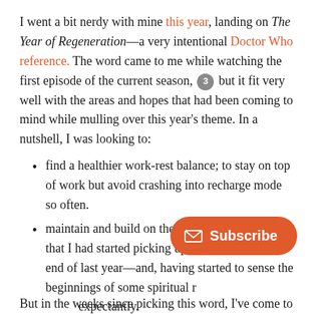I went a bit nerdy with mine this year, landing on The Year of Regeneration—a very intentional Doctor Who reference. The word came to me while watching the first episode of the current season, [3] but it fit very well with the areas and hopes that had been coming to mind while mulling over this year's theme. In a nutshell, I was looking to:
find a healthier work-rest balance; to stay on top of work but avoid crashing into recharge mode so often.
maintain and build on the spiritual disciplines that I had started picking up again towards the end of last year—and, having started to sense the beginnings of some spiritual r[enewel, to lean into it] expectantly.
But in the weeks since picking this word, I've come to